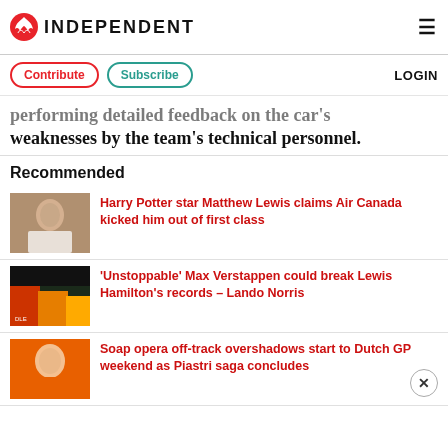INDEPENDENT
Contribute | Subscribe | LOGIN
...performing detailed feedback on the car's weaknesses by the team's technical personnel.
Recommended
[Figure (photo): Thumbnail photo of a person for Harry Potter star Matthew Lewis article]
Harry Potter star Matthew Lewis claims Air Canada kicked him out of first class
[Figure (photo): Thumbnail photo from F1 podium for Max Verstappen article]
'Unstoppable' Max Verstappen could break Lewis Hamilton's records – Lando Norris
[Figure (photo): Thumbnail photo of Oscar Piastri for Dutch GP article]
Soap opera off-track overshadows start to Dutch GP weekend as Piastri saga concludes